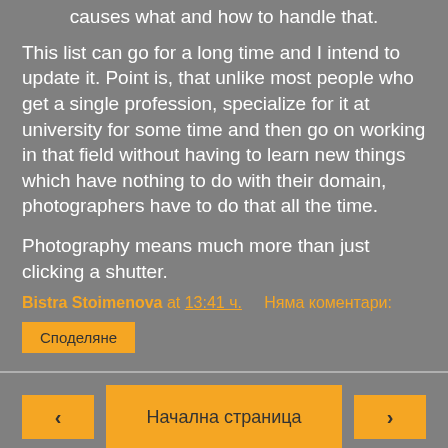causes what and how to handle that.
This list can go for a long time and I intend to update it. Point is, that unlike most people who get a single profession, specialize for it at university for some time and then go on working in that field without having to learn new things which have nothing to do with their domain, photographers have to do that all the time.
Photography means much more than just clicking a shutter.
Bistra Stoimenova at 13:41 ч.    Няма коментари:
Споделяне
‹  Начална страница  ›
Преглед на уеб версията
About Me
Bistra Stoimenova
Преглед на целия ми профил